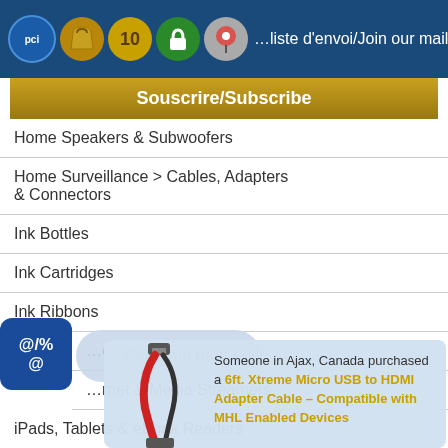Join our mailing list / Souscrire/Subscribe
Home Speakers & Subwoofers
Home Surveillance > Cables, Adapters & Connectors
Ink Bottles
Ink Cartridges
Ink Ribbons
Internal Hard Disk Drives
Internet & Media Streamers
iPads, Tablets & eBook Readers
Keyboard & Mouse Bundles
Someone in Ajax, Canada purchased a 6ft. Xtreme Micro USB to HDMI Adapter Cable – Compatible with MHL Enabled Devices